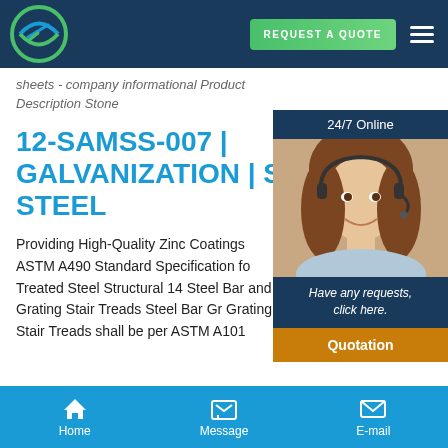REQUEST A QUOTE
sheets - company informational Product Description Stone
12-SAMSS-007 | GALVANIZATION | STRUCTURAL STEEL
Providing High-Quality Zinc Coatings ASTM A490 Standard Specification for Treated Steel Structural 14 Steel Bar and Grating Stair Treads Steel Bar Grating Stair Treads shall be per ASTM A101
[Figure (photo): Customer service representative woman wearing headset, smiling, with 24/7 Online label and chat widget overlay]
Home  Message  E-mail